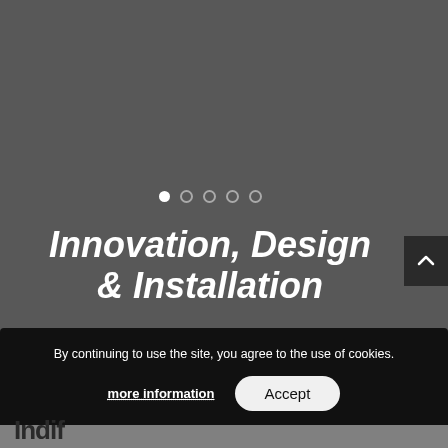[Figure (screenshot): Dark grey background representing a website hero/slider area with five pagination dots (one filled white, four outlined) indicating a carousel component.]
Innovation, Design & Installation
By continuing to use the site, you agree to the use of cookies.
more information
Accept